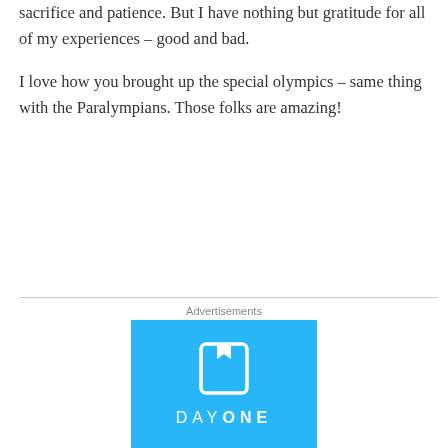sacrifice and patience. But I have nothing but gratitude for all of my experiences – good and bad.

I love how you brought up the special olympics – same thing with the Paralympians. Those folks are amazing!
↳ Reply
Advertisements
[Figure (logo): Day One app advertisement — light blue background with a white bookmark/journal icon and the text DAY ONE in white letters with tracking]